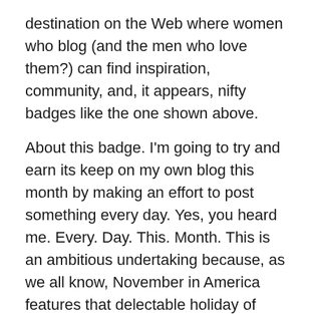destination on the Web where women who blog (and the men who love them?) can find inspiration, community, and, it appears, nifty badges like the one shown above.
About this badge. I'm going to try and earn its keep on my own blog this month by making an effort to post something every day. Yes, you heard me. Every. Day. This. Month. This is an ambitious undertaking because, as we all know, November in America features that delectable holiday of food and gratitude, Thanksgiving. This is immediately followed by the chaos known to American retail commerce as Black Friday. Oh, and I'm starting two fairly substantial freelance projects in November.
Madness, indeed. Believe it or not, I had planned on writing this week to tell you that I would be curtailing my postings, reducing my output from three to two missives